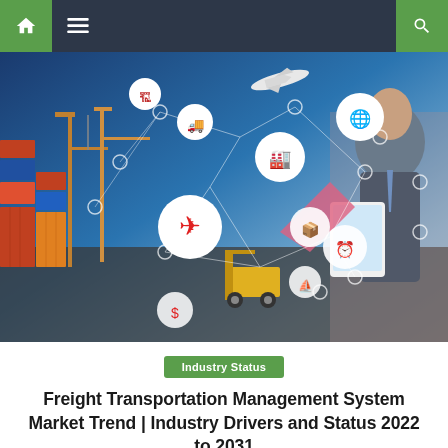Navigation bar with home, menu, and search icons
[Figure (photo): Freight and logistics concept image showing shipping containers, cranes, a forklift, an airplane, and a businessperson using a digital tablet — overlaid with a network of connected circular icons representing transportation modes (air, sea, road freight, global shipping) linked by geometric lines on a blue background.]
Industry Status
Freight Transportation Management System Market Trend | Industry Drivers and Status 2022 to 2031
Freight Transportation Management System Market to